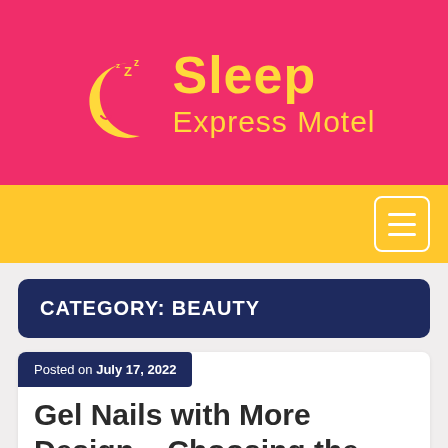[Figure (logo): Sleep Express Motel logo with crescent moon on pink background]
Navigation bar with hamburger menu button
CATEGORY: BEAUTY
Posted on July 17, 2022
Gel Nails with More Design – Choosing the